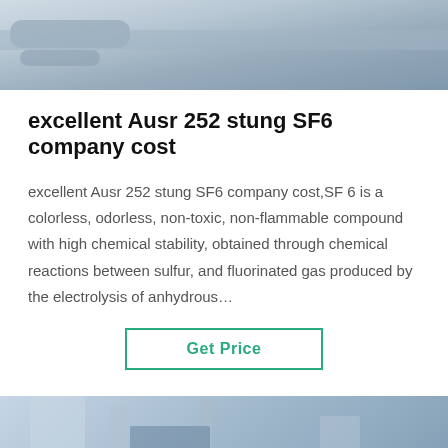[Figure (photo): Top banner showing industrial cables or pipes on a light background]
excellent Ausr 252 stung SF6 company cost
excellent Ausr 252 stung SF6 company cost,SF 6 is a colorless, odorless, non-toxic, non-flammable compound with high chemical stability, obtained through chemical reactions between sulfur, and fluorinated gas produced by the electrolysis of anhydrous…
[Figure (other): Get Price button with green border]
[Figure (photo): Bottom banner showing industrial equipment, power lines, and worker at a facility]
Leave Message   Chat Online